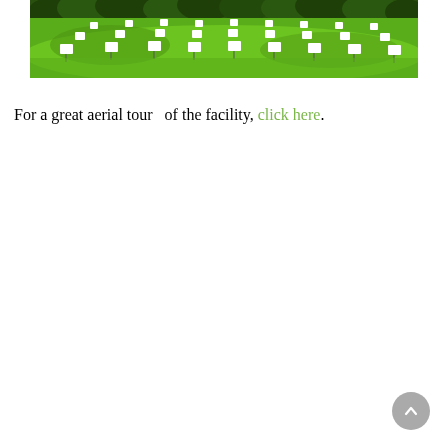[Figure (photo): Aerial-like ground-level photo of a green grassy hillside with many small white marker signs planted in rows across the lawn, with trees in the background.]
For a great aerial tour  of the facility, click here.